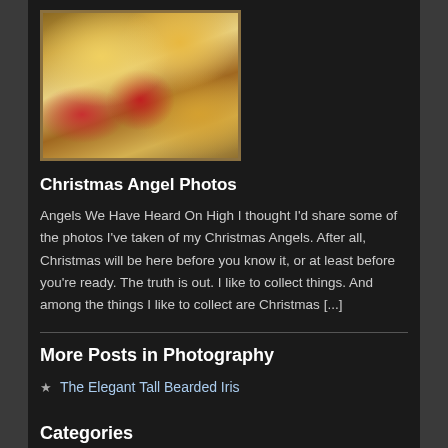[Figure (photo): Christmas angel decorative photo with gold angel figurine, red ornament balls, pine cones, and white floral decorations in a gilded frame]
Christmas Angel Photos
Angels We Have Heard On High I thought I'd share some of the photos I've taken of my Christmas Angels. After all, Christmas will be here before you know it, or at least before you're ready. The truth is out. I like to collect things. And among the things I like to collect are Christmas [...]
More Posts in Photography
The Elegant Tall Bearded Iris
Roses, Roses, And More Roses
My Front Garden In Photos
George E Owen Memorial Rose Garden
Categories